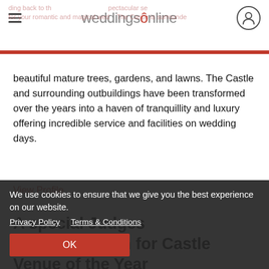weddingsonline
beautiful mature trees, gardens, and lawns. The Castle and surrounding outbuildings have been transformed over the years into a haven of tranquillity and luxury offering incredible service and facilities on wedding days.
View Profile
A special Judges Commendation for Castle Venue of the Year
[Figure (photo): Photo of people at an awards ceremony with red banner and illustrated background]
We use cookies to ensure that we give you the best experience on our website.
Privacy Policy   Terms & Conditions
OK